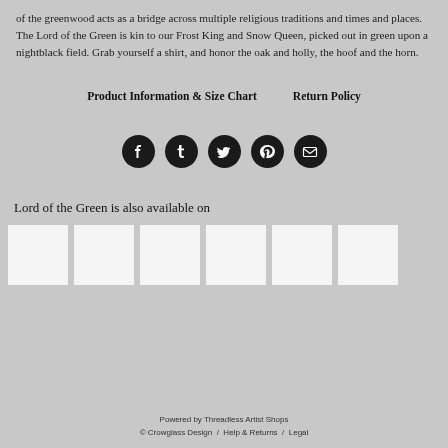of the greenwood acts as a bridge across multiple religious traditions and times and places. The Lord of the Green is kin to our Frost King and Snow Queen, picked out in green upon a nightblack field. Grab yourself a shirt, and honor the oak and holly, the hoof and the horn.
Product Information & Size Chart   Return Policy
[Figure (infographic): Row of 5 social media icon buttons (Facebook, Tumblr, Twitter, Pinterest, Email) as dark circular icons]
Lord of the Green is also available on
[Figure (infographic): Row of 6 white product thumbnail images]
Powered by Threadless Artist Shops
© Crowglass Design / Help & Returns / Legal